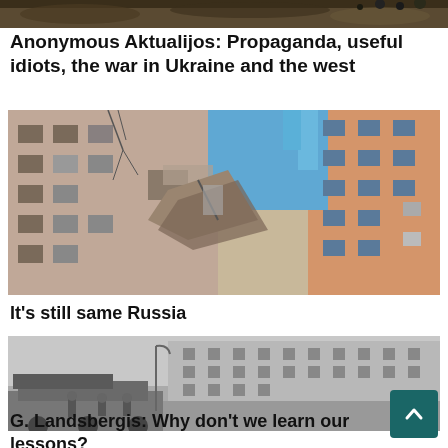[Figure (photo): Top partial image strip - landscape/terrain photo, cropped at top of page]
Anonymous Aktualijos: Propaganda, useful idiots, the war in Ukraine and the west
[Figure (photo): Damaged apartment building exterior showing blown out sections, rubble, and structural damage consistent with war damage in Ukraine]
It’s still same Russia
[Figure (photo): Black and white historical photo showing soldiers and military vehicles in front of a large government/Stalin-era building]
G. Landsbergis: Why don’t we learn our lessons?